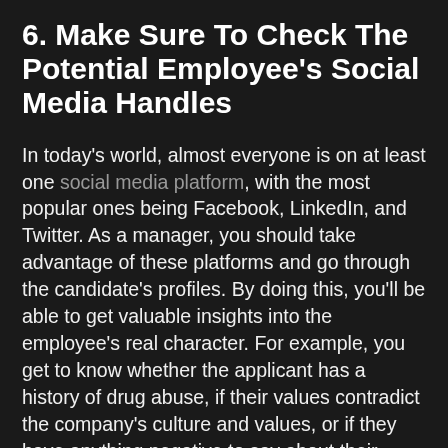6. Make Sure To Check The Potential Employee's Social Media Handles
In today's world, almost everyone is on at least one social media platform, with the most popular ones being Facebook, LinkedIn, and Twitter. As a manager, you should take advantage of these platforms and go through the candidate's profiles. By doing this, you'll be able to get valuable insights into the employee's real character. For example, you get to know whether the applicant has a history of drug abuse, if their values contradict the company's culture and values, or if they have anything negative to say about their previous employers.
Thanks to this, you get better insights into the candidate's true character and not the timid and